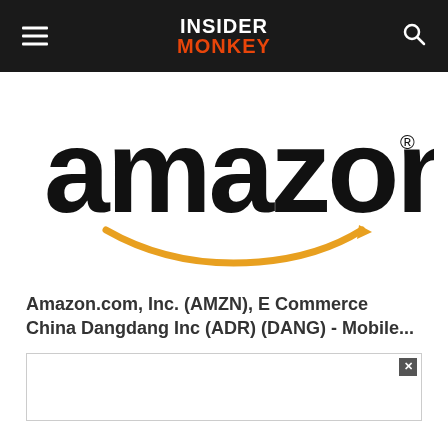Insider Monkey
[Figure (logo): Amazon logo — large black lowercase 'amazon' wordmark with orange arrow/smile beneath]
Amazon.com, Inc. (AMZN), E Commerce China Dangdang Inc (ADR) (DANG) - Mobile...
[Figure (other): Advertisement box with close (x) button in top-right corner]